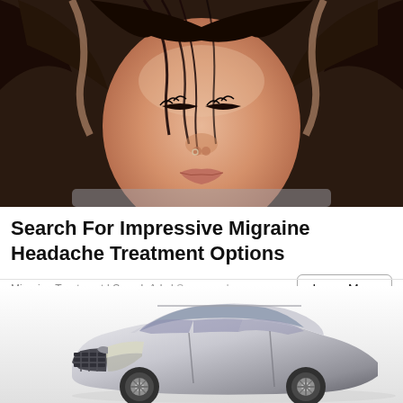[Figure (photo): Close-up photo of a woman with dark hair holding her head in pain, eyes closed, with hair across her face suggesting migraine/headache distress]
Search For Impressive Migraine Headache Treatment Options
Migraine Treatment | Search Ads | Sponsored
[Figure (photo): Photo of a silver/grey luxury SUV (Audi-style) on white background, partial view showing front and side]